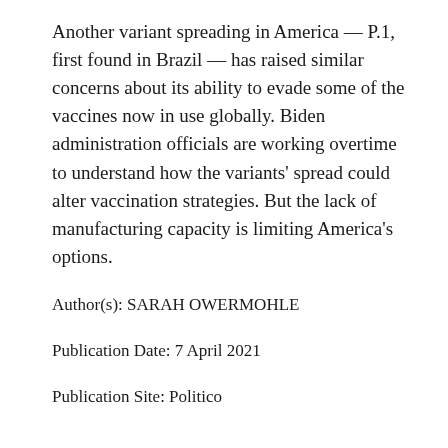Another variant spreading in America — P.1, first found in Brazil — has raised similar concerns about its ability to evade some of the vaccines now in use globally. Biden administration officials are working overtime to understand how the variants' spread could alter vaccination strategies. But the lack of manufacturing capacity is limiting America's options.
Author(s): SARAH OWERMOHLE
Publication Date: 7 April 2021
Publication Site: Politico